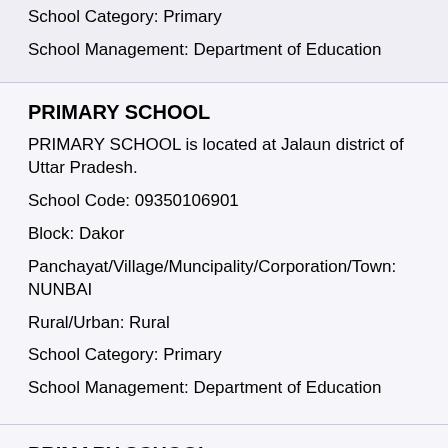School Category: Primary
School Management: Department of Education
PRIMARY SCHOOL
PRIMARY SCHOOL is located at Jalaun district of Uttar Pradesh.
School Code: 09350106901
Block: Dakor
Panchayat/Village/Muncipality/Corporation/Town: NUNBAI
Rural/Urban: Rural
School Category: Primary
School Management: Department of Education
PRIMARY SCHOOL
PRIMARY SCHOOL is located at Jalaun district of Uttar